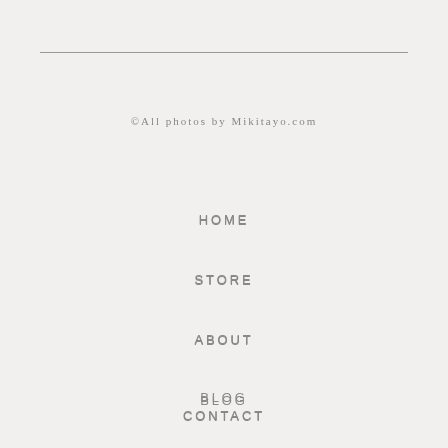©All photos by Mikitayo.com
HOME
STORE
ABOUT
BLOG
CONTACT